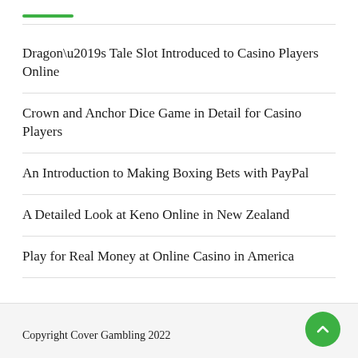Dragon’s Tale Slot Introduced to Casino Players Online
Crown and Anchor Dice Game in Detail for Casino Players
An Introduction to Making Boxing Bets with PayPal
A Detailed Look at Keno Online in New Zealand
Play for Real Money at Online Casino in America
Copyright Cover Gambling 2022